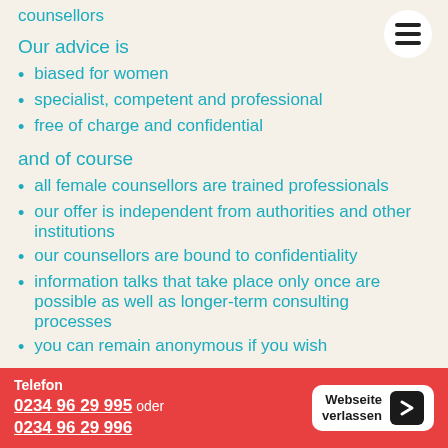counsellors
Our advice is
biased for women
specialist, competent and professional
free of charge and confidential
and of course
all female counsellors are trained professionals
our offer is independent from authorities and other institutions
our counsellors are bound to confidentiality
information talks that take place only once are possible as well as longer-term consulting processes
you can remain anonymous if you wish
Telefon
0234 96 29 995 oder
0234 96 29 996
Webseite verlassen